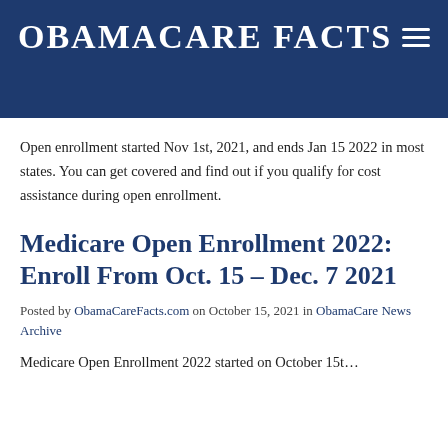OBAMACARE FACTS
Open enrollment started Nov 1st, 2021, and ends Jan 15 2022 in most states. You can get covered and find out if you qualify for cost assistance during open enrollment.
Medicare Open Enrollment 2022: Enroll From Oct. 15 – Dec. 7 2021
Posted by ObamaCareFacts.com on October 15, 2021 in ObamaCare News Archive
Medicare Open Enrollment 2022 started on October 15t…